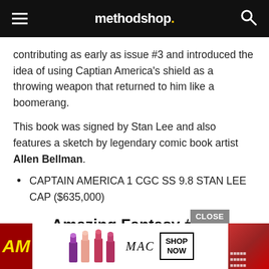methodshop.
contributing as early as issue #3 and introduced the idea of using Captian America's shield as a throwing weapon that returned to him like a boomerang.
This book was signed by Stan Lee and also features a sketch by legendary comic book artist Allen Bellman.
CAPTAIN AMERICA 1 CGC SS 9.8 STAN LEE CAP ($635,000)
4  Amazing Fantasy #15: Spider-Man Origin ($531,000)
[Figure (screenshot): Advertisement banner showing MAC lipstick products with 'SHOP NOW' button and a partial magazine cover on the right.]